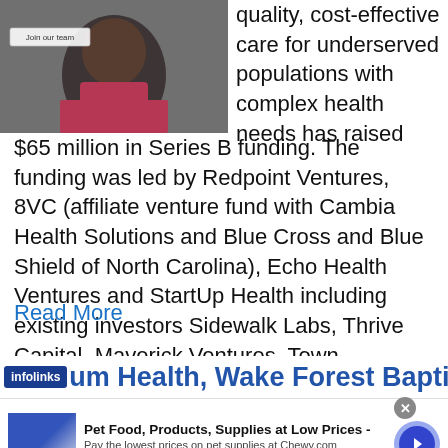[Figure (photo): Photo of a woman in a pink top with a 'Join our team' button overlay, gray background]
quality, cost-effective care for underserved populations with complex health needs has raised $65 million in Series B funding. The funding was led by Redpoint Ventures, 8VC (affiliate venture fund with Cambia Health Solutions and Blue Cross and Blue Shield of North Carolina), Echo Health Ventures and StartUp Health including existing investors Sidewalk Labs, Thrive Capital, Maverick Ventures, Town
Read More
[Figure (screenshot): Infolinks advertisement bar with partial headline: 'um Health, Wake Forest Baptist']
[Figure (screenshot): Chewy.com advertisement: Pet Food, Products, Supplies at Low Prices - Pay the lowest prices on pet supplies at Chewy.com, chewy.com]